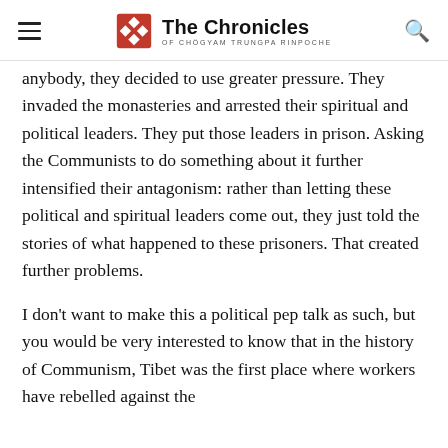The Chronicles of Chogyam Trungpa Rinpoche
anybody, they decided to use greater pressure. They invaded the monasteries and arrested their spiritual and political leaders. They put those leaders in prison. Asking the Communists to do something about it further intensified their antagonism: rather than letting these political and spiritual leaders come out, they just told the stories of what happened to these prisoners. That created further problems.
I don’t want to make this a political pep talk as such, but you would be very interested to know that in the history of Communism, Tibet was the first place where workers have rebelled against the